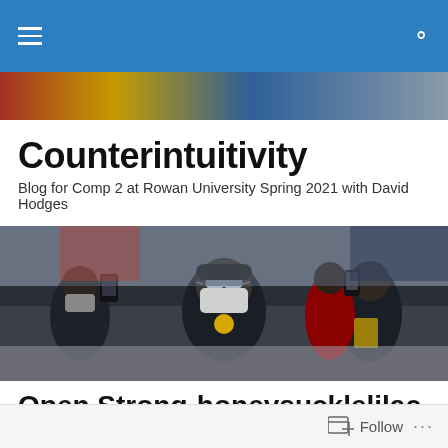Counterintuitivity navigation bar
[Figure (photo): Blurred colorful hero banner image strip at top of page]
Counterintuitivity
Blog for Comp 2 at Rowan University Spring 2021 with David Hodges
[Figure (photo): Crowd of people at a rally or protest, man in center wearing goggles and balaclava, others holding phones filming]
Open Strong-honeysucklelilac
Posted by honeysucklelilac
The Real Cost
Follow ...